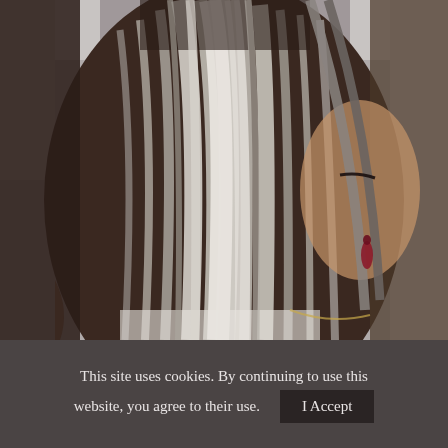[Figure (photo): Close-up photo of a woman with highlighted balayage hair — dark roots blending into ash blonde and silver highlights on a straight bob cut. Her face is partially obscured by her hair. She wears a red earring and a gold necklace. Background is a stone wall.]
This site uses cookies. By continuing to use this website, you agree to their use.   I Accept